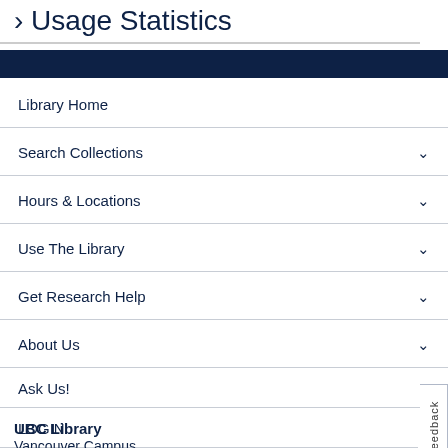> Usage Statistics
Library Home
Search Collections
Hours & Locations
Use The Library
Get Research Help
About Us
Ask Us!
LOGIN
Feedback
UBC Library
Vancouver Campus